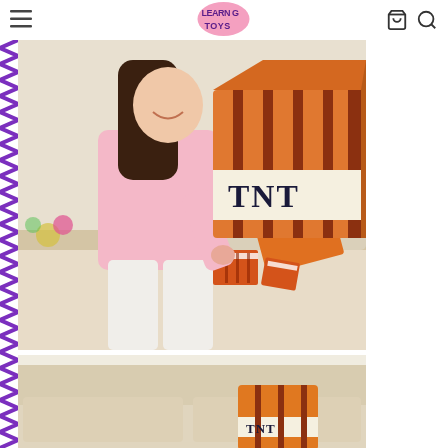LearnG Toys website header with hamburger menu, logo, cart icon, and search icon
[Figure (photo): Woman in pink sweatshirt and white pants holding a large Minecraft TNT block plush/foam toy. In the background on a sofa are more TNT block toys and an orange pillow.]
[Figure (photo): Partial view of a sofa with an orange Minecraft TNT block toy pillow on it, bright white room background.]